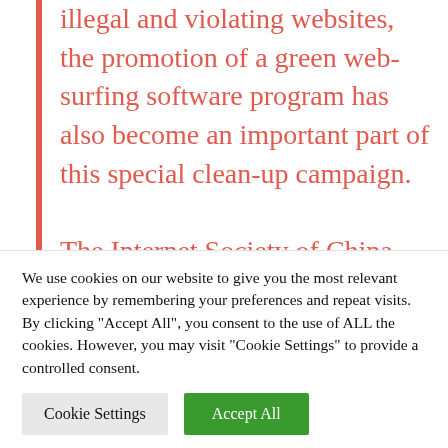illegal and violating websites, the promotion of a green web-surfing software program has also become an important part of this special clean-up campaign. The Internet Society of China released an urgent notice yesterday demanding that member companies “organize and carry out Internet clean-up campaign work for
We use cookies on our website to give you the most relevant experience by remembering your preferences and repeat visits. By clicking “Accept All”, you consent to the use of ALL the cookies. However, you may visit "Cookie Settings" to provide a controlled consent.